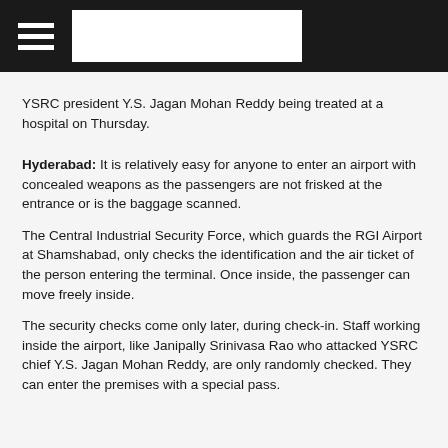Navigation header with hamburger menu and logo
YSRC president Y.S. Jagan Mohan Reddy being treated at a hospital on Thursday.
Hyderabad: It is relatively easy for anyone to enter an airport with concealed weapons as the passengers are not frisked at the entrance or is the baggage scanned.
The Central Industrial Security Force, which guards the RGI Airport at Shamshabad, only checks the identification and the air ticket of the person entering the terminal. Once inside, the passenger can move freely inside.
The security checks come only later, during check-in. Staff working inside the airport, like Janipally Srinivasa Rao who attacked YSRC chief Y.S. Jagan Mohan Reddy, are only randomly checked. They can enter the premises with a special pass.